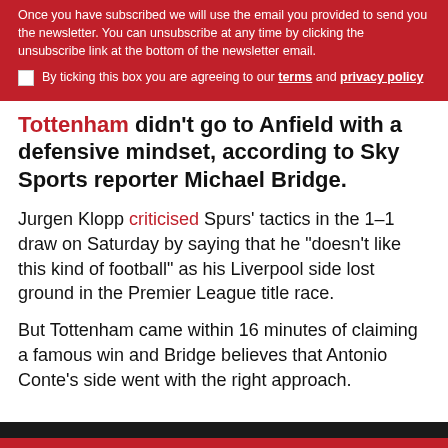Once you have subscribed we will use the email you provided to send you the newsletter. You can unsubscribe at any time by clicking the unsubscribe link at the bottom of the newsletter email.
By ticking this box you are agreeing to our terms and privacy policy
Tottenham didn't go to Anfield with a defensive mindset, according to Sky Sports reporter Michael Bridge.
Jurgen Klopp criticised Spurs' tactics in the 1–1 draw on Saturday by saying that he "doesn't like this kind of football" as his Liverpool side lost ground in the Premier League title race.
But Tottenham came within 16 minutes of claiming a famous win and Bridge believes that Antonio Conte's side went with the right approach.